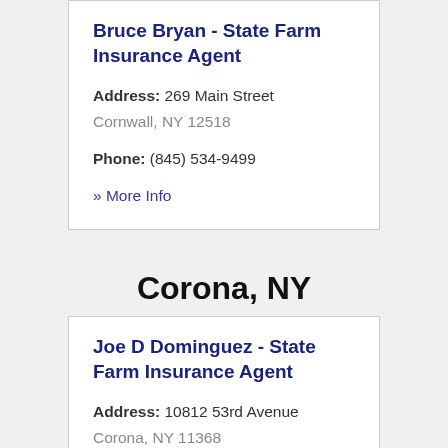Bruce Bryan - State Farm Insurance Agent
Address: 269 Main Street
Cornwall, NY 12518
Phone: (845) 534-9499
» More Info
Corona, NY
Joe D Dominguez - State Farm Insurance Agent
Address: 10812 53rd Avenue
Corona, NY 11368